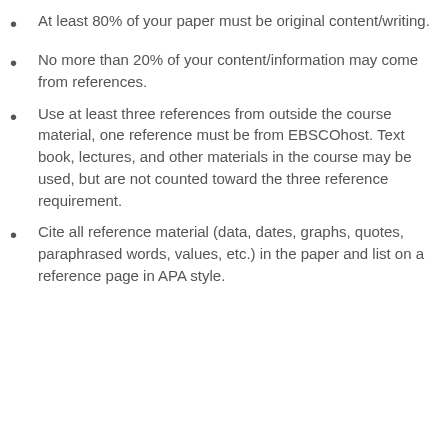At least 80% of your paper must be original content/writing.
No more than 20% of your content/information may come from references.
Use at least three references from outside the course material, one reference must be from EBSCOhost. Text book, lectures, and other materials in the course may be used, but are not counted toward the three reference requirement.
Cite all reference material (data, dates, graphs, quotes, paraphrased words, values, etc.) in the paper and list on a reference page in APA style.